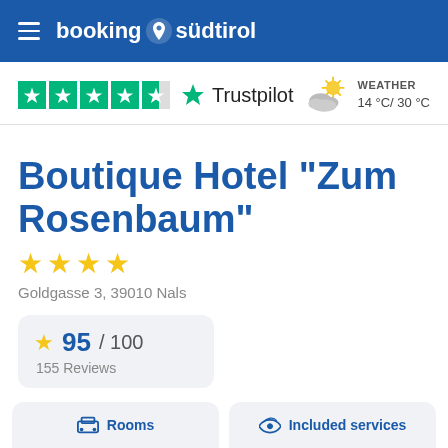booking südtirol
[Figure (logo): Trustpilot rating with 4.5 green stars and Trustpilot logo]
WEATHER 14 °C/ 30 °C
Boutique Hotel "Zum Rosenbaum"
★★★★ (4 stars)
Goldgasse 3, 39010 Nals
95 / 100
155 Reviews
Rooms
Included services